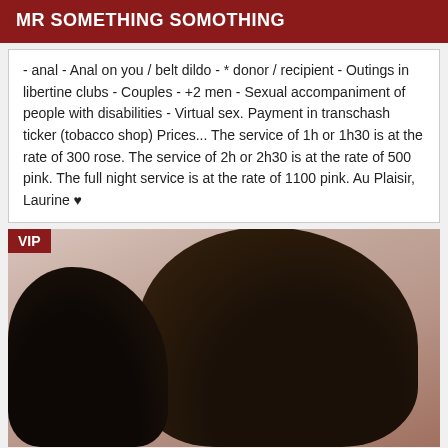MR SOMETHING SOMOTHING
- anal - Anal on you / belt dildo - * donor / recipient - Outings in libertine clubs - Couples - +2 men - Sexual accompaniment of people with disabilities - Virtual sex. Payment in transchash ticker (tobacco shop) Prices... The service of 1h or 1h30 is at the rate of 300 rose. The service of 2h or 2h30 is at the rate of 500 pink. The full night service is at the rate of 1100 pink. Au Plaisir, Laurine ♥
[Figure (photo): VIP badge photo of a woman with dark curly hair, partial face visible, warm skin tones]